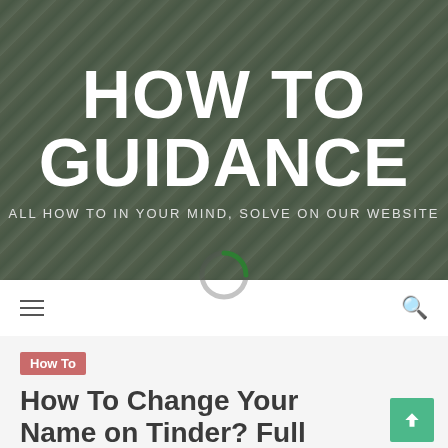[Figure (screenshot): Hero banner with dark greenish-grey overlay on a natural grass/straw background. Large white bold text reads 'HOW TO GUIDANCE' with subtitle 'ALL HOW TO IN YOUR MIND, SOLVE ON OUR WEBSITE'. A circular loading spinner is partially visible at the bottom center.]
HOW TO GUIDANCE — ALL HOW TO IN YOUR MIND, SOLVE ON OUR WEBSITE
How To
How To Change Your Name on Tinder? Full Guide 2022